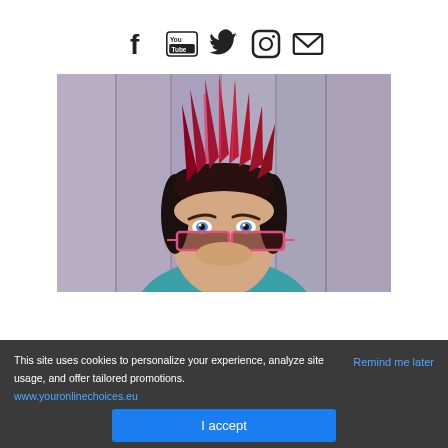[Figure (other): Social media icons row: Facebook (f), YouTube (You/tube), Twitter (bird), Instagram (camera), Email (envelope)]
[Figure (photo): Person with spiky red/dark punk-style hair, pulling down pink-framed black sunglasses to reveal blue eyes, wearing teal top, photographed against wooden background]
This site uses cookies to personalize your experience, analyze site usage, and offer tailored promotions. www.youronlinechoices.eu
Remind me later
I accept